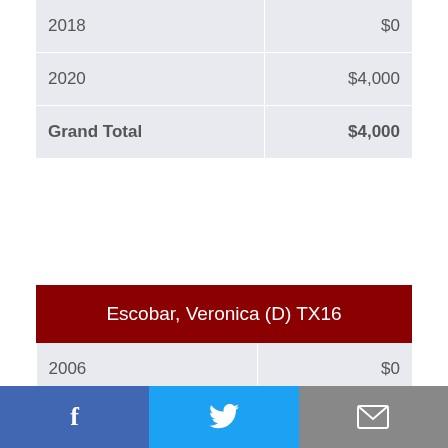| Year | Amount |
| --- | --- |
| 2018 | $0 |
| 2020 | $4,000 |
| Grand Total | $4,000 |
Escobar, Veronica (D) TX16
| Year | Amount |
| --- | --- |
| 2006 | $0 |
| 2008 | $0 |
Social share bar: Facebook, Twitter, Mail